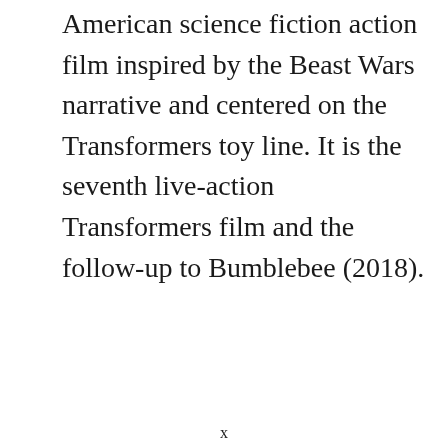American science fiction action film inspired by the Beast Wars narrative and centered on the Transformers toy line. It is the seventh live-action Transformers film and the follow-up to Bumblebee (2018).
x